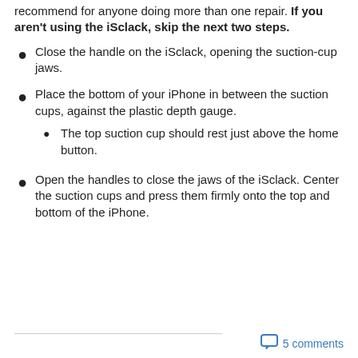recommend for anyone doing more than one repair. If you aren't using the iSclack, skip the next two steps.
Close the handle on the iSclack, opening the suction-cup jaws.
Place the bottom of your iPhone in between the suction cups, against the plastic depth gauge.
The top suction cup should rest just above the home button.
Open the handles to close the jaws of the iSclack. Center the suction cups and press them firmly onto the top and bottom of the iPhone.
5 comments